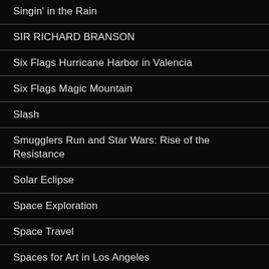Singin' in the Rain
SIR RICHARD BRANSON
Six Flags Hurricane Harbor in Valencia
Six Flags Magic Mountain
Slash
Smugglers Run and Star Wars: Rise of the Resistance
Solar Eclipse
Space Exploration
Space Travel
Spaces for Art in Los Angeles
Standard Ballads
Star News
Star Trek